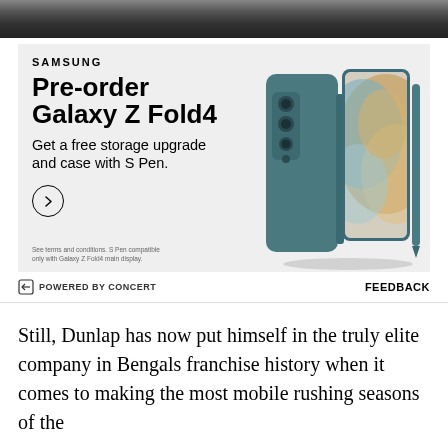[Figure (photo): Dark background photo strip at top of page showing partial background scene]
[Figure (infographic): Samsung advertisement for Galaxy Z Fold4 pre-order. White-gray background with Samsung logo, headline 'Pre-order Galaxy Z Fold4', subtext 'Get a free storage upgrade and case with S Pen.', a circular arrow CTA button, and fine print 'See terms and conditions. S Pen compatible only with Galaxy Z Fold4 main display.' Right side shows product photo of teal/green Galaxy Z Fold4 folding phone with S Pen case.]
POWERED BY CONCERT   FEEDBACK
Still, Dunlap has now put himself in the truly elite company in Bengals franchise history when it comes to making the most mobile rushing seasons of the